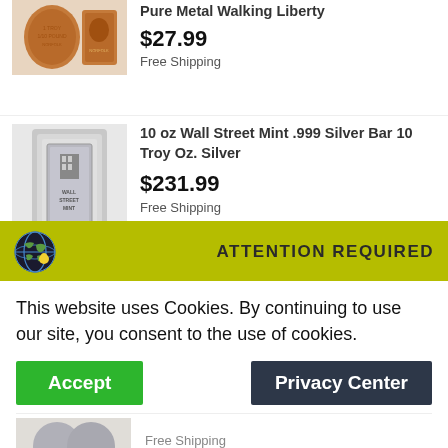[Figure (photo): Product image of copper coins/rounds - Pure Metal Walking Liberty]
Pure Metal Walking Liberty
$27.99
Free Shipping
[Figure (photo): Product image of silver bar - 10 oz Wall Street Mint .999 Silver Bar]
10 oz Wall Street Mint .999 Silver Bar 10 Troy Oz. Silver
$231.99
Free Shipping
[Figure (photo): Product image of silver rounds - 1 oz .999 Fine Silver AG Round President Donald]
1 oz .999 Fine Silver AG Round - President Donald
$27.20
Free Shipping
[Figure (logo): Globe icon for Cloudflare attention required banner]
ATTENTION REQUIRED
This website uses Cookies. By continuing to use our site, you consent to the use of cookies.
Accept
Privacy Center
Free Shipping